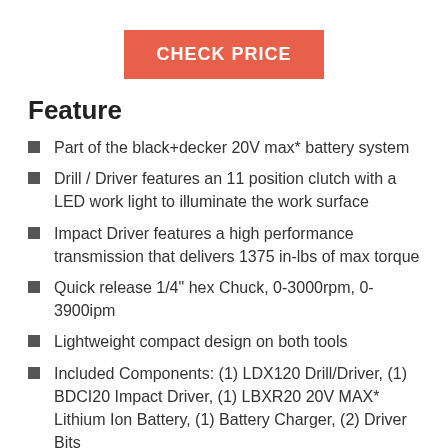CHECK PRICE
Feature
Part of the black+decker 20V max* battery system
Drill / Driver features an 11 position clutch with a LED work light to illuminate the work surface
Impact Driver features a high performance transmission that delivers 1375 in-lbs of max torque
Quick release 1/4" hex Chuck, 0-3000rpm, 0-3900ipm
Lightweight compact design on both tools
Included Components: (1) LDX120 Drill/Driver, (1) BDCI20 Impact Driver, (1) LBXR20 20V MAX* Lithium Ion Battery, (1) Battery Charger, (2) Driver Bits